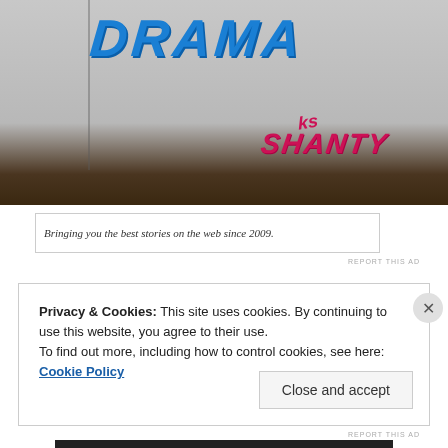[Figure (photo): Photograph of a white wall with graffiti: 'DRAMA' in blue spray paint and 'KS SHANTY' in pink/red spray paint, with dry grass/leaves at the base of the wall.]
Bringing you the best stories on the web since 2009.
REPORT THIS AD
Privacy & Cookies: This site uses cookies. By continuing to use this website, you agree to their use.
To find out more, including how to control cookies, see here: Cookie Policy
Close and accept
REPORT THIS AD